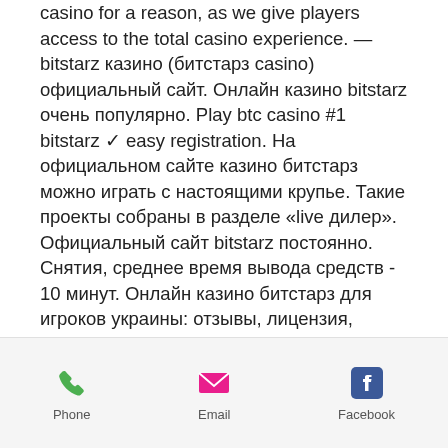casino for a reason, as we give players access to the total casino experience. — bitstarz казино (битстарз casino) официальный сайт. Онлайн казино bitstarz очень популярно. Play btc casino #1 bitstarz ✓ easy registration. На официальном сайте казино битстарз можно играть с настоящими крупье. Такие проекты собраны в разделе «live дилер». Официальный сайт bitstarz постоянно. Снятия, среднее время вывода средств - 10 минут. Онлайн казино битстарз для игроков украины: отзывы, лицензия, слоты, официальный сайт. Заходи на зеркало bitstarz casino и получи 100% бонус. Bit starz официальный сайт. Адрес интернет казино в сети: bitstarz. И...
[Figure (other): Mobile app bottom navigation bar with Phone, Email, and Facebook icons]